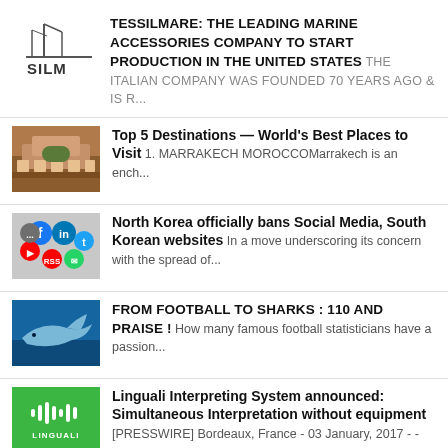TESSILMARE: THE LEADING MARINE ACCESSORIES COMPANY TO START PRODUCTION IN THE UNITED STATES THE ITALIAN COMPANY WAS FOUNDED 70 YEARS AGO & IS R...
Top 5 Destinations — World's Best Places to Visit 1. MARRAKECH MOROCCOMarrakech is an ench...
North Korea officially bans Social Media, South Korean websites In a move underscoring its concern with the spread of...
FROM FOOTBALL TO SHARKS : 110 AND PRAISE ! How many famous football statisticians have a passion...
Linguali Interpreting System announced: Simultaneous Interpretation without equipment [PRESSWIRE] Bordeaux, France - 03 January, 2017 - - Ling...